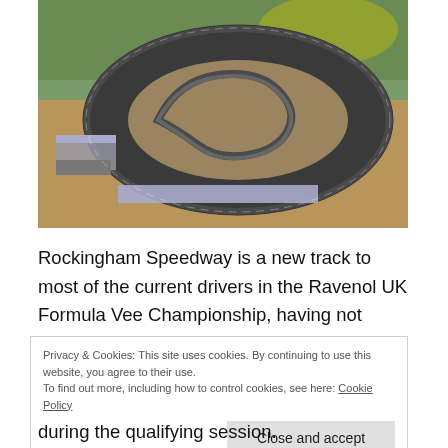[Figure (photo): Aerial view of Rockingham Speedway motor racing circuit under construction, showing the oval track layout with infield road course, grandstands, and surrounding countryside.]
Rockingham Speedway is a new track to most of the current drivers in the Ravenol UK Formula Vee Championship, having not been used since 2013.
Privacy & Cookies: This site uses cookies. By continuing to use this website, you agree to their use.
To find out more, including how to control cookies, see here: Cookie Policy
Close and accept
during the qualifying session.